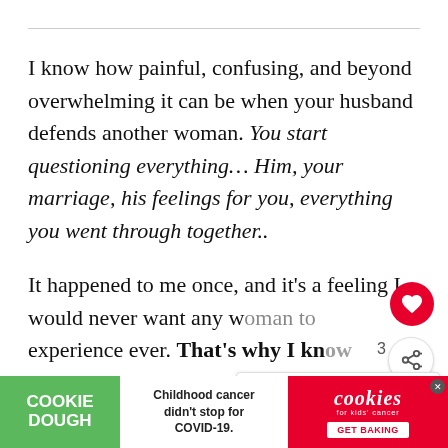I know how painful, confusing, and beyond overwhelming it can be when your husband defends another woman. You start questioning everything… Him, your marriage, his feelings for you, everything you went through together..
It happened to me once, and it's a feeling I would never want any woman to experience ever. That's why I know h... and all
[Figure (screenshot): Cookie Dough advertisement banner at bottom of page: green Cookie Dough logo on left, center text 'Childhood cancer didn't stop for COVID-19.', right side red cookies for kids cancer logo with GET BAKING button. Also shows What's Next panel with article preview 'What Does It Mean When...' and heart/share social buttons overlaid on content.]